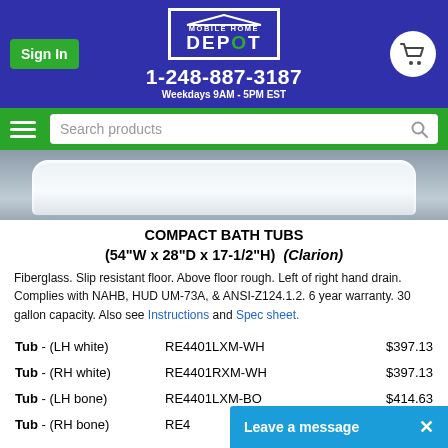Mobile Home Depot | 1-248-887-3187 | Weekdays 9AM - 5PM EST
[Figure (logo): Mobile Home Depot logo in white box with blue background]
[Figure (photo): Compact bath tub product photo, white tub on grey background]
COMPACT BATH TUBS (54"W x 28"D x 17-1/2"H) (Clarion)
Fiberglass. Slip resistant floor. Above floor rough. Left of right hand drain. Complies with NAHB, HUD UM-73A, & ANSI-Z124.1.2. 6 year warranty. 30 gallon capacity. Also see Instructions and Spec sheet.
| Description | SKU | Price |
| --- | --- | --- |
| Tub - (LH white) | RE4401LXM-WH | $397.13 |
| Tub - (RH white) | RE4401RXM-WH | $397.13 |
| Tub - (LH bone) | RE4401LXM-BO | $414.63 |
| Tub - (RH bone) | RE4... |  |
Leave a message